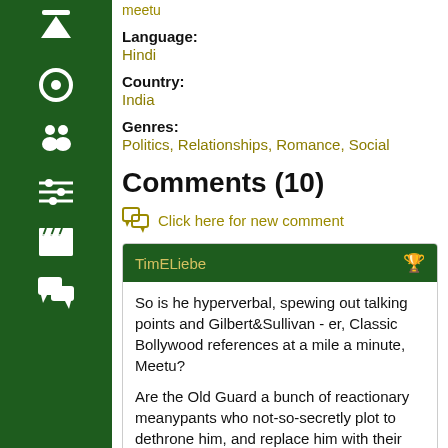meetu
Language: Hindi
Country: India
Genres: Politics, Relationships, Romance, Social
Comments (10)
Click here for new comment
TimELiebe
So is he hyperverbal, spewing out talking points and Gilbert&Sullivan - er, Classic Bollywood references at a mile a minute, Meetu?

Are the Old Guard a bunch of reactionary meanypants who not-so-secretly plot to dethrone him, and replace him with their